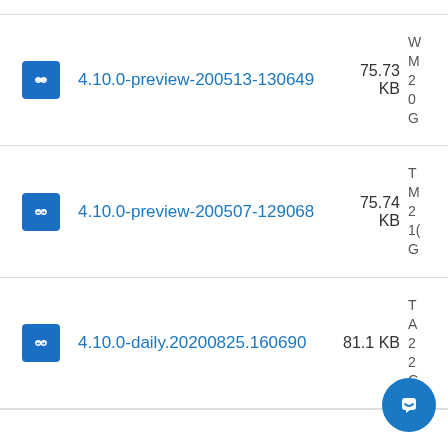4.10.0-preview-200513-130649 75.73 KB
4.10.0-preview-200507-129068 75.74 KB
4.10.0-daily.20200825.160690 81.1 KB